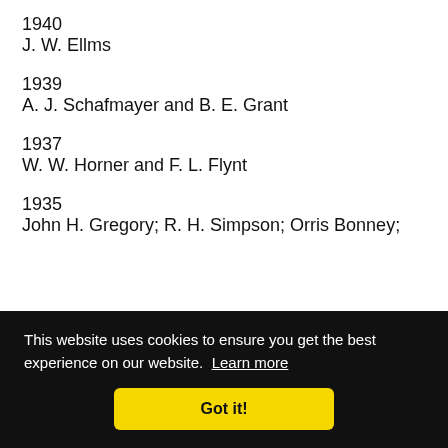1940
J. W. Ellms
1939
A. J. Schafmayer and B. E. Grant
1937
W. W. Horner and F. L. Flynt
1935
John H. Gregory; R. H. Simpson; Orris Bonney;
This website uses cookies to ensure you get the best experience on our website. Learn more
Got it!
1927